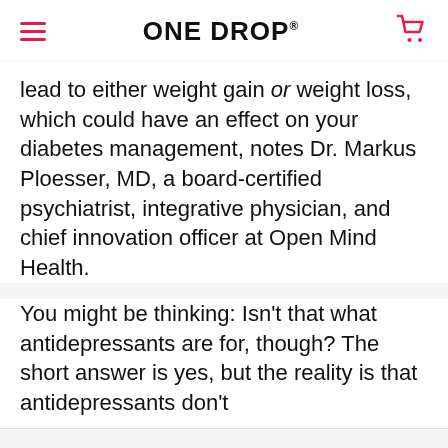ONE DROP
lead to either weight gain or weight loss, which could have an effect on your diabetes management, notes Dr. Markus Ploesser, MD, a board-certified psychiatrist, integrative physician, and chief innovation officer at Open Mind Health.
You might be thinking: Isn’t that what antidepressants are for, though? The short answer is yes, but the reality is that antidepressants don’t
This website uses cookies to ensure you get the best experience. Learn more
Accept